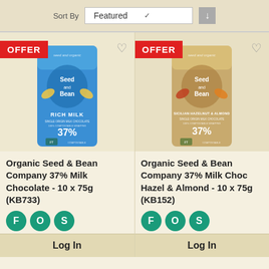Sort By  Featured
[Figure (screenshot): Organic Seed & Bean Company 37% Milk Chocolate bar in blue packaging with 'OFFER' badge]
Organic Seed & Bean Company 37% Milk Chocolate - 10 x 75g (KB733)
F O S
Log In
[Figure (screenshot): Organic Seed & Bean Company 37% Milk Choc Hazel & Almond bar in tan/gold packaging with 'OFFER' badge]
Organic Seed & Bean Company 37% Milk Choc Hazel & Almond - 10 x 75g (KB152)
F O S
Log In